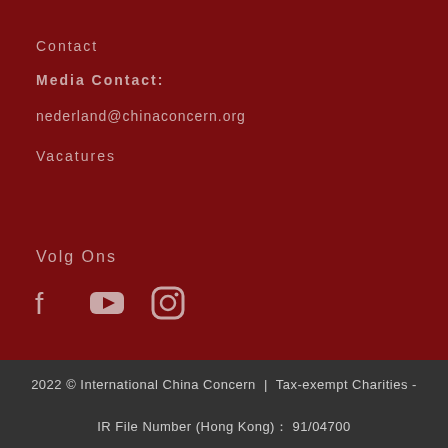Contact
Media Contact:
nederland@chinaconcern.org
Vacatures
Volg Ons
[Figure (illustration): Social media icons: Facebook, YouTube, Instagram]
2022 © International China Concern  |  Tax-exempt Charities -  IR File Number (Hong Kong)？ 91/04700